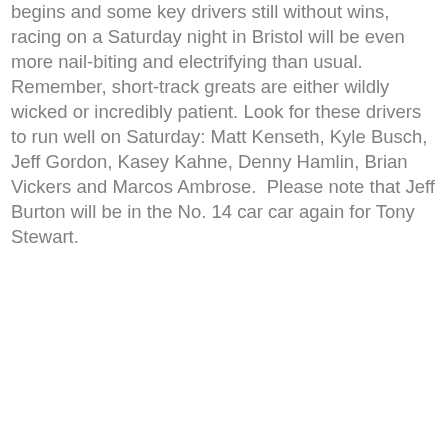begins and some key drivers still without wins, racing on a Saturday night in Bristol will be even more nail-biting and electrifying than usual. Remember, short-track greats are either wildly wicked or incredibly patient. Look for these drivers to run well on Saturday: Matt Kenseth, Kyle Busch, Jeff Gordon, Kasey Kahne, Denny Hamlin, Brian Vickers and Marcos Ambrose.  Please note that Jeff Burton will be in the No. 14 car car again for Tony Stewart.